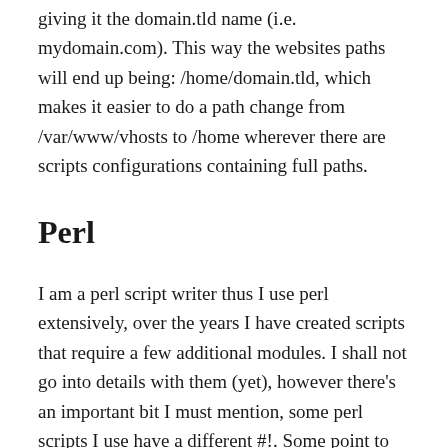giving it the domain.tld name (i.e. mydomain.com). This way the websites paths will end up being: /home/domain.tld, which makes it easier to do a path change from /var/www/vhosts to /home wherever there are scripts configurations containing full paths.
Perl
I am a perl script writer thus I use perl extensively, over the years I have created scripts that require a few additional modules. I shall not go into details with them (yet), however there's an important bit I must mention, some perl scripts I use have a different #!. Some point to the sometimes non-existent /usr/local/bin/perl, so in order to avoid these script throwing an error I simply link it to the